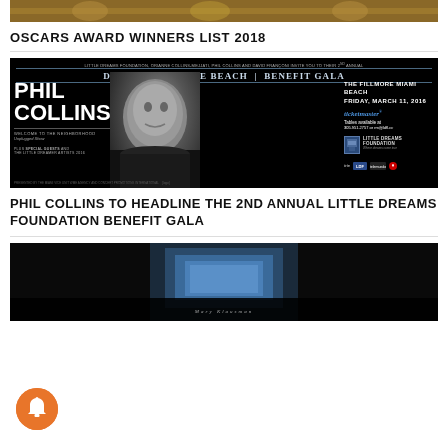[Figure (photo): Top cropped image showing gold/brown decorative elements, possibly award statuettes]
OSCARS AWARD WINNERS LIST 2018
[Figure (photo): Event promotional banner for Dreaming on the Beach Benefit Gala featuring Phil Collins. Text: LITTLE DREAMS FOUNDATION, ORIANNE COLLINS-MEJJATI, PHIL COLLINS AND DAVID FRANÇONI INVITE YOU TO THEIR 2ND ANNUAL DREAMING ON THE BEACH | BENEFIT GALA. PHIL COLLINS. WELCOME TO THE NEIGHBORHOOD Unplugged Show. PLUS SPECIAL GUESTS AND THE LITTLE DREAMER ARTISTS 2016. THE FILLMORE MIAMI BEACH, FRIDAY, MARCH 11, 2016. ticketmaster. Tables available at 305.951.2757 or rm@ldfl.cc. LITTLE DREAMS FOUNDATION logo. Sponsors: Irie, LDF, Telemundo, heart icon.]
PHIL COLLINS TO HEADLINE THE 2ND ANNUAL LITTLE DREAMS FOUNDATION BENEFIT GALA
[Figure (photo): Bottom image showing a dark scene with blue-lit building or stage, partially visible]
[Figure (other): Orange circular notification bell button overlay in bottom left corner]